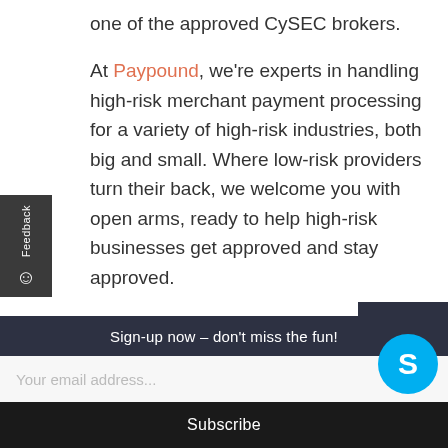one of the approved CySEC brokers.
At Paypound, we're experts in handling high-risk merchant payment processing for a variety of high-risk industries, both big and small. Where low-risk providers turn their back, we welcome you with open arms, ready to help high-risk businesses get approved and stay approved.
Get in touch with us.
Sign-up now – don't miss the fun!
Your email address...
Subscribe